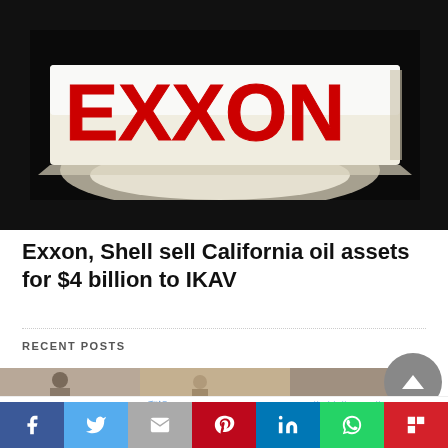[Figure (photo): Illuminated Exxon sign with red letters glowing against a dark background]
Exxon, Shell sell California oil assets for $4 billion to IKAV
RECENT POSTS
[Figure (photo): Partial view of a recent posts thumbnail image]
Página traducible | 翻訳ページ | Página traduzível | الصفحة القابلة للترجمة
Social sharing bar: Facebook, Twitter, Email, Pinterest, LinkedIn, WhatsApp, Flipboard